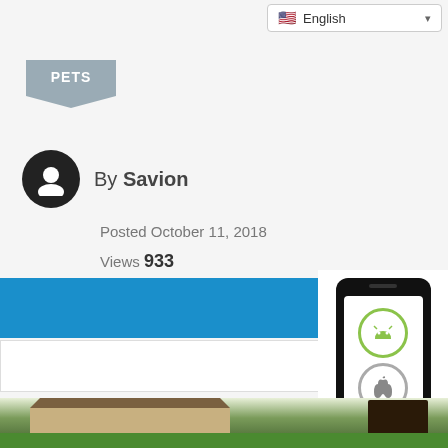English
PETS
By Savion
Posted October 11, 2018
Views 933
[Figure (screenshot): Blue button with house/message icon: SEND MESSAGE]
[Figure (screenshot): White button with phone and warning icon: CLICK TO VIEW]
[Figure (screenshot): Mobile app advertisement showing phone with Android and Apple icons, labeled Mobile App]
Share
Favourite
Report
[Figure (photo): Photo of a house with trees and a car in front, suburban neighborhood]